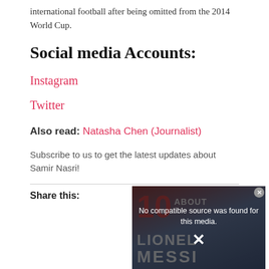international football after being omitted from the 2014 World Cup.
Social media Accounts:
Instagram
Twitter
Also read: Natasha Chen (Journalist)
Subscribe to us to get the latest updates about Samir Nasri!
Share this:
[Figure (screenshot): Video overlay showing 'No compatible source was found for this media.' with a Lionel Messi video thumbnail in the background and a close button (X)]